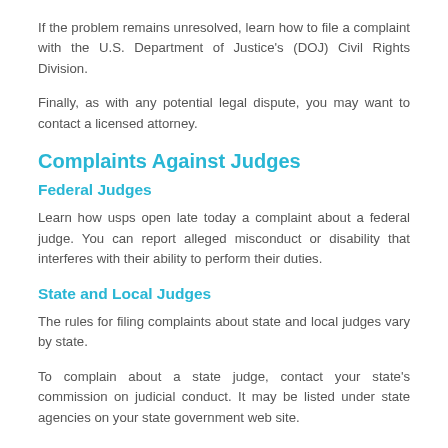If the problem remains unresolved, learn how to file a complaint with the U.S. Department of Justice's (DOJ) Civil Rights Division.
Finally, as with any potential legal dispute, you may want to contact a licensed attorney.
Complaints Against Judges
Federal Judges
Learn how usps open late today a complaint about a federal judge. You can report alleged misconduct or disability that interferes with their ability to perform their duties.
State and Local Judges
The rules for filing complaints about state and local judges vary by state.
To complain about a state judge, contact your state's commission on judicial conduct. It may be listed under state agencies on your state government web site.